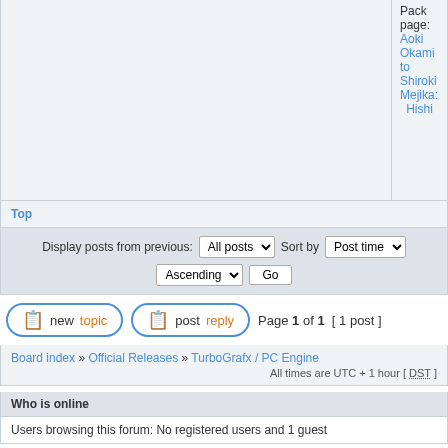Pack page: Aoki Okami to Shiroki Mejika: Hishi
Top
Display posts from previous: All posts   Sort by Post time   Ascending   Go
new topic   post reply   Page 1 of 1  [ 1 post ]
Board index » Official Releases » TurboGrafx / PC Engine
All times are UTC + 1 hour [ DST ]
Who is online
Users browsing this forum: No registered users and 1 guest
You cannot post new topics in this forum
You cannot reply to topics in this forum
You cannot edit your posts in this forum
You cannot delete your posts in this forum
You cannot post attachments in this forum
Search for:
Jump to: TurboGrafx / PC Engine   Go
Powered by phpBB® Forum Software © phpBB Group